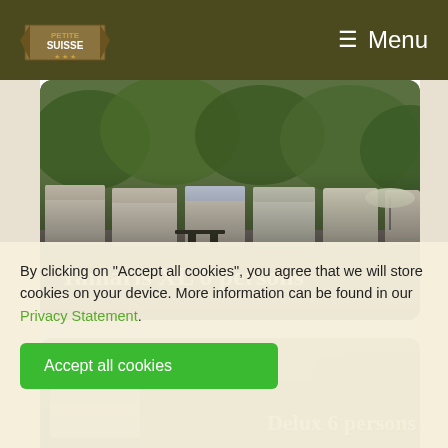[Figure (screenshot): Website header with campsite logo on the left and Menu button with hamburger icon on the right, dark olive/army green background]
[Figure (photo): Photo of a row of mobile homes/static caravans with green trees in background, text overlay 'Tamaris XL 6 persons']
[Figure (photo): Partially visible photo of another accommodation with text 'Delux 6 persons' partially visible]
By clicking on "Accept all cookies", you agree that we will store cookies on your device. More information can be found in our Privacy Statement.
Accept all cookies